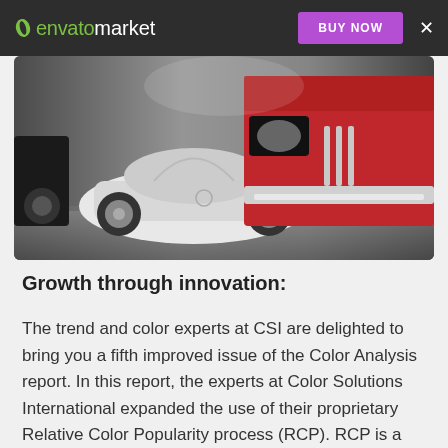envato market | BUY NOW | ×
[Figure (photo): Classic vintage cars in a showroom — a white Mercedes-Benz 300 SL gullwing coupe and a red classic car in the foreground, photographed in a dramatic low-angle studio setting with reflective floors.]
Growth through innovation:
The trend and color experts at CSI are delighted to bring you a fifth improved issue of the Color Analysis report. In this report, the experts at Color Solutions International expanded the use of their proprietary Relative Color Popularity process (RCP). RCP is a